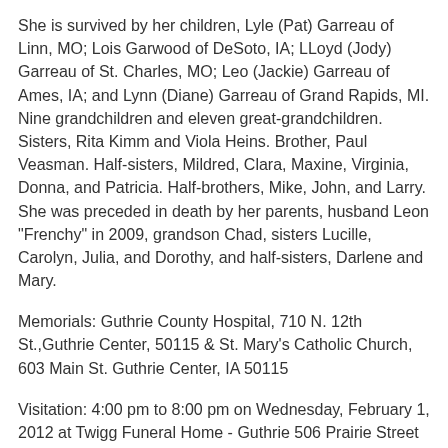She is survived by her children, Lyle (Pat) Garreau of Linn, MO; Lois Garwood of DeSoto, IA; LLoyd (Jody) Garreau of St. Charles, MO; Leo (Jackie) Garreau of Ames, IA; and Lynn (Diane) Garreau of Grand Rapids, MI. Nine grandchildren and eleven great-grandchildren. Sisters, Rita Kimm and Viola Heins. Brother, Paul Veasman. Half-sisters, Mildred, Clara, Maxine, Virginia, Donna, and Patricia. Half-brothers, Mike, John, and Larry. She was preceded in death by her parents, husband Leon "Frenchy" in 2009, grandson Chad, sisters Lucille, Carolyn, Julia, and Dorothy, and half-sisters, Darlene and Mary.
Memorials: Guthrie County Hospital, 710 N. 12th St.,Guthrie Center, 50115 & St. Mary's Catholic Church, 603 Main St. Guthrie Center, IA 50115
Visitation: 4:00 pm to 8:00 pm on Wednesday, February 1, 2012 at Twigg Funeral Home - Guthrie 506 Prairie Street Guthrie Center Iowa 50115 (map/driving directions) Family will be present from 6-8 PM with a Vigil Service at 7:30 PM.